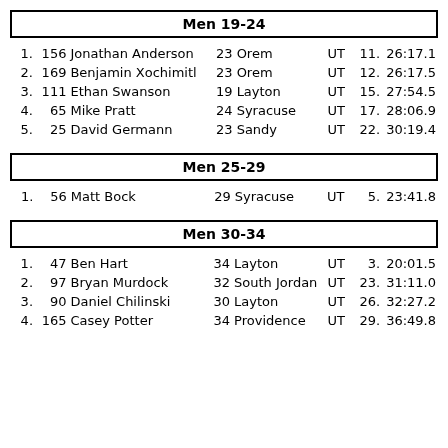Men 19-24
| Place | Bib | Name | Age | City | State | Overall Place | Time |
| --- | --- | --- | --- | --- | --- | --- | --- |
| 1. | 156 | Jonathan Anderson | 23 | Orem | UT | 11. | 26:17.1 |
| 2. | 169 | Benjamin Xochimitl | 23 | Orem | UT | 12. | 26:17.5 |
| 3. | 111 | Ethan Swanson | 19 | Layton | UT | 15. | 27:54.5 |
| 4. | 65 | Mike Pratt | 24 | Syracuse | UT | 17. | 28:06.9 |
| 5. | 25 | David Germann | 23 | Sandy | UT | 22. | 30:19.4 |
Men 25-29
| Place | Bib | Name | Age | City | State | Overall Place | Time |
| --- | --- | --- | --- | --- | --- | --- | --- |
| 1. | 56 | Matt Bock | 29 | Syracuse | UT | 5. | 23:41.8 |
Men 30-34
| Place | Bib | Name | Age | City | State | Overall Place | Time |
| --- | --- | --- | --- | --- | --- | --- | --- |
| 1. | 47 | Ben Hart | 34 | Layton | UT | 3. | 20:01.5 |
| 2. | 97 | Bryan Murdock | 32 | South Jordan | UT | 23. | 31:11.0 |
| 3. | 90 | Daniel Chilinski | 30 | Layton | UT | 26. | 32:27.2 |
| 4. | 165 | Casey Potter | 34 | Providence | UT | 29. | 36:49.8 |